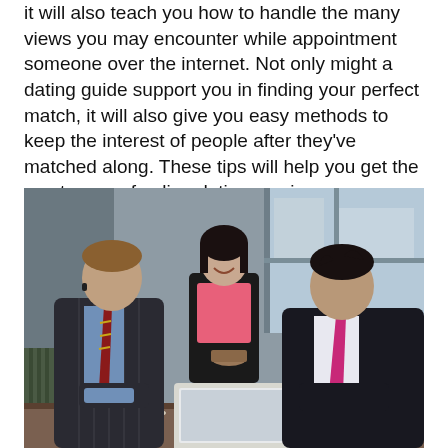it will also teach you how to handle the many views you may encounter while appointment someone over the internet. Not only might a dating guide support you in finding your perfect match, it will also give you easy methods to keep the interest of people after they've matched along. These tips will help you get the most away of online dating services.
[Figure (photo): Three business professionals — two men and a woman — gathered around a laptop on a table. The woman stands behind smiling, wearing a pink and black blazer. One man sits on the left in a striped suit with a striped tie holding a coffee cup. Another man sits on the right in a dark suit with a pink tie. They appear to be in a modern office environment.]